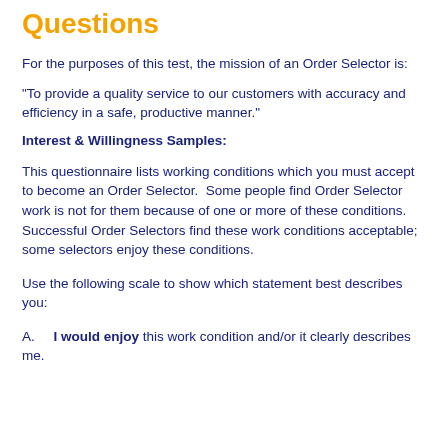Order Selector Sample Questions
For the purposes of this test, the mission of an Order Selector is:
"To provide a quality service to our customers with accuracy and efficiency in a safe, productive manner."
Interest & Willingness Samples:
This questionnaire lists working conditions which you must accept to become an Order Selector.  Some people find Order Selector work is not for them because of one or more of these conditions.  Successful Order Selectors find these work conditions acceptable; some selectors enjoy these conditions.
Use the following scale to show which statement best describes you:
A.    I would enjoy this work condition and/or it clearly describes me.